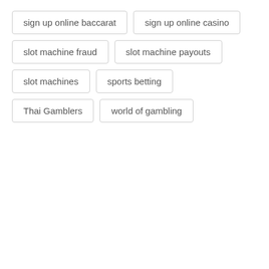sign up online baccarat
sign up online casino
slot machine fraud
slot machine payouts
slot machines
sports betting
Thai Gamblers
world of gambling